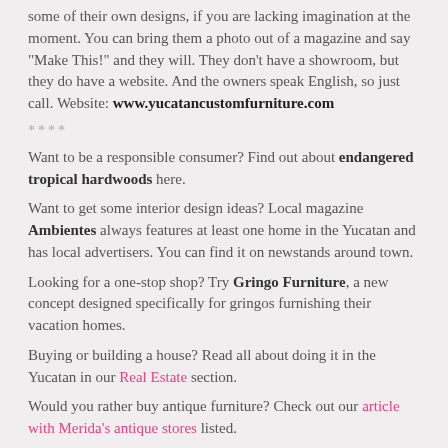some of their own designs, if you are lacking imagination at the moment. You can bring them a photo out of a magazine and say "Make This!" and they will. They don't have a showroom, but they do have a website. And the owners speak English, so just call. Website: www.yucatancustomfurniture.com
****
Want to be a responsible consumer? Find out about endangered tropical hardwoods here.
Want to get some interior design ideas? Local magazine Ambientes always features at least one home in the Yucatan and has local advertisers. You can find it on newstands around town.
Looking for a one-stop shop? Try Gringo Furniture, a new concept designed specifically for gringos furnishing their vacation homes.
Buying or building a house? Read all about doing it in the Yucatan in our Real Estate section.
Would you rather buy antique furniture? Check out our article with Merida's antique stores listed.